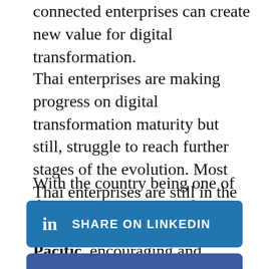connected enterprises can create new value for digital transformation.
Thai enterprises are making progress on digital transformation maturity but still, struggle to reach further stages of the evolution. Most Thai enterprises are still in the second stage of digital execution.
With the country being one of the strongest countries for digital adoption in Asia-Pacific, encouraging and enabling digital transformation is a must.
[Figure (other): Share on LinkedIn button (blue rounded rectangle with LinkedIn icon and text 'SHARE ON LINKEDIN')]
[Figure (other): Share on Facebook button (blue rounded rectangle with Facebook icon and text 'SHARE ON FACEBOOK')]